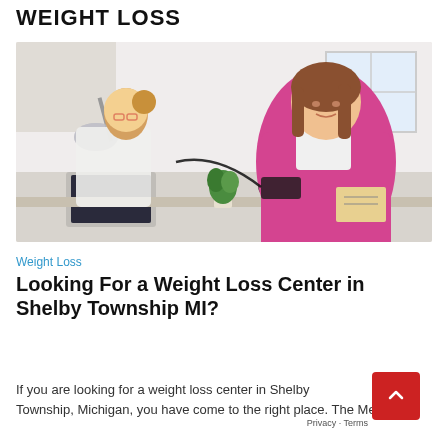WEIGHT LOSS
[Figure (photo): A female doctor in a white coat taking blood pressure of an overweight female patient in a pink sweater, seated at a desk with a laptop and a small potted plant, in a medical office setting.]
Weight Loss
Looking For a Weight Loss Center in Shelby Township MI?
If you are looking for a weight loss center in Shelby Township, Michigan, you have come to the right place. The Medic...